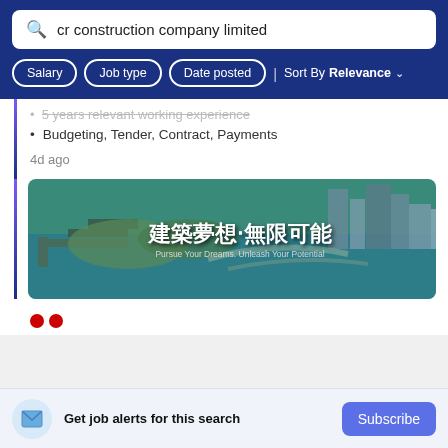cr construction company limited
Salary
Job type
Date posted
Sort By Relevance
Budgeting, Tender, Contract, Payments
4d ago
[Figure (photo): Aerial photograph of a Hong Kong harbour with text overlay reading '建築夢想‧無限可能' and 'Pursue Your Dreams. Unleash Your Potential']
Get job alerts for this search
Subscribe